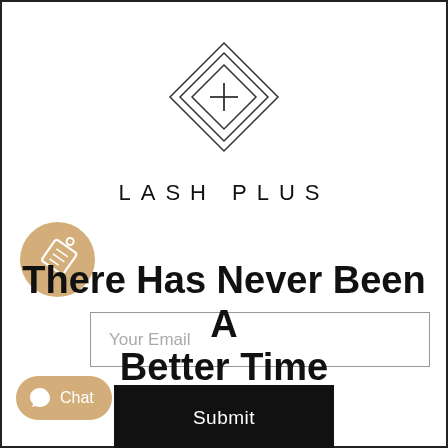[Figure (logo): Lash Plus logo: nested diamond/rhombus shapes with a plus sign in the center, thin outline style]
LASH PLUS
[Figure (illustration): Circular tan/gold tag icon on the left side]
Your Email
Submit
There Has Never Been A Better Time
[Figure (illustration): Chat button with Messenger icon and 'Chat' label in gold/tan color]